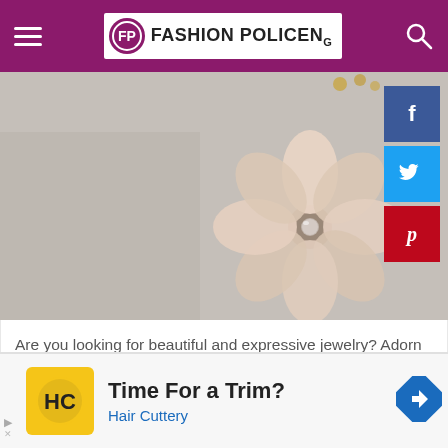FASHION POLICENg
[Figure (photo): Close-up photo of a peach/champagne satin fabric flower pendant with a crystal/gem center, resting on a grey surface with gold beads visible in the background. Facebook, Twitter, and Pinterest social share buttons overlaid on the right side.]
Are you looking for beautiful and expressive jewelry? Adorn yourself with a timeless flower pendant. Learn the meanings of symbolic flower pendants.
[Figure (infographic): Advertisement banner: Hair Cuttery 'Time For a Trim?' ad with HC yellow logo and navigation arrow icon.]